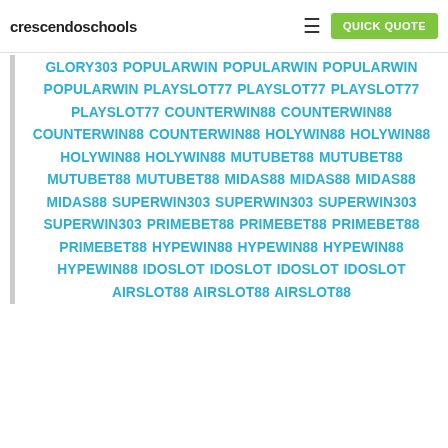crescendoschools | QUICK QUOTE
GLORY303 POPULARWIN POPULARWIN POPULARWIN POPULARWIN PLAYSLOT77 PLAYSLOT77 PLAYSLOT77 PLAYSLOT77 COUNTERWIN88 COUNTERWIN88 COUNTERWIN88 COUNTERWIN88 HOLYWIN88 HOLYWIN88 HOLYWIN88 HOLYWIN88 MUTUBET88 MUTUBET88 MUTUBET88 MUTUBET88 MIDAS88 MIDAS88 MIDAS88 MIDAS88 SUPERWIN303 SUPERWIN303 SUPERWIN303 SUPERWIN303 PRIMEBET88 PRIMEBET88 PRIMEBET88 PRIMEBET88 HYPEWIN88 HYPEWIN88 HYPEWIN88 HYPEWIN88 IDOSLOT IDOSLOT IDOSLOT IDOSLOT AIRSLOT88 AIRSLOT88 AIRSLOT88